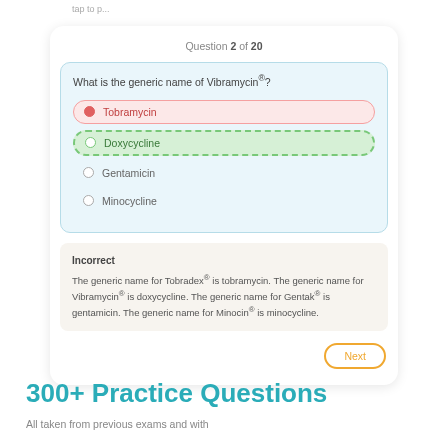tap to p...
Question 2 of 20
What is the generic name of Vibramycin®?
Tobramycin
Doxycycline
Gentamicin
Minocycline
Incorrect
The generic name for Tobradex® is tobramycin. The generic name for Vibramycin® is doxycycline. The generic name for Gentak® is gentamicin. The generic name for Minocin® is minocycline.
Next
300+ Practice Questions
All taken from previous exams and with